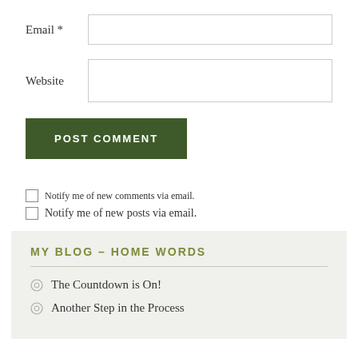Email *
Website
POST COMMENT
Notify me of new comments via email.
Notify me of new posts via email.
MY BLOG – HOME WORDS
The Countdown is On!
Another Step in the Process